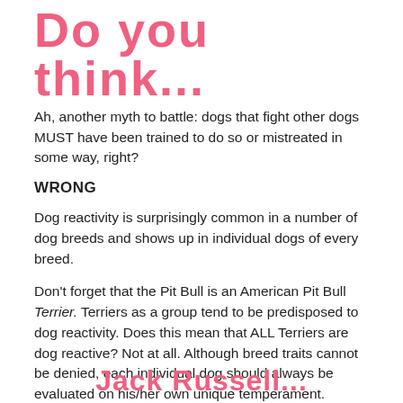Do you think...
Ah, another myth to battle: dogs that fight other dogs MUST have been trained to do so or mistreated in some way, right?
WRONG
Dog reactivity is surprisingly common in a number of dog breeds and shows up in individual dogs of every breed.
Don't forget that the Pit Bull is an American Pit Bull Terrier. Terriers as a group tend to be predisposed to dog reactivity. Does this mean that ALL Terriers are dog reactive? Not at all. Although breed traits cannot be denied, each individual dog should always be evaluated on his/her own unique temperament.
Speaking of Terriers, this is from the Jack Russell Terrier Club of America:
Jack Russell...